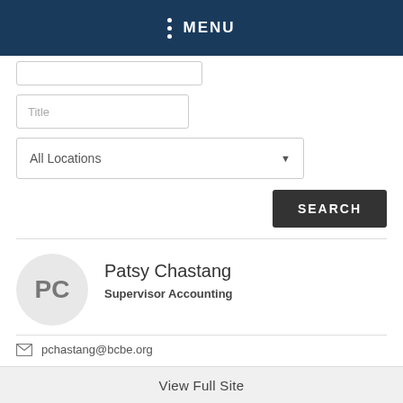MENU
Title
All Locations
SEARCH
Patsy Chastang
Supervisor Accounting
pchastang@bcbe.org
Joanne Cox
View Full Site